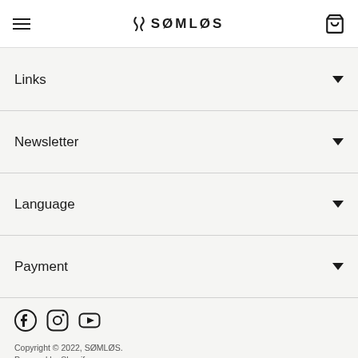SØMLØS
Links
Newsletter
Language
Payment
Copyright © 2022, SØMLØS. Powered by Shopify